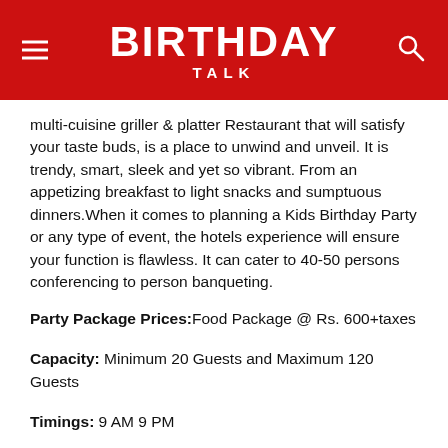BIRTHDAY TALK
multi-cuisine griller & platter Restaurant that will satisfy your taste buds, is a place to unwind and unveil. It is trendy, smart, sleek and yet so vibrant. From an appetizing breakfast to light snacks and sumptuous dinners.When it comes to planning a Kids Birthday Party or any type of event, the hotels experience will ensure your function is flawless. It can cater to 40-50 persons conferencing to person banqueting.
Party Package Prices: Food Package @ Rs. 600+taxes
Capacity: Minimum 20 Guests and Maximum 120 Guests
Timings: 9 AM 9 PM